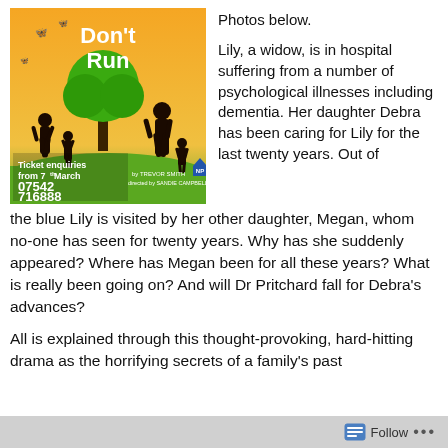[Figure (illustration): Theatre show poster for a play - orange/green background with silhouettes of people and a tree. Text reads: Don't Run, Ticket enquiries from 7th March, 07542 716888, by TREVOR SMITH, directed by SANDIE CAMPBELL]
Photos below.
Lily, a widow, is in hospital suffering from a number of psychological illnesses including dementia. Her daughter Debra has been caring for Lily for the last twenty years. Out of the blue Lily is visited by her other daughter, Megan, whom no-one has seen for twenty years. Why has she suddenly appeared? Where has Megan been for all these years? What is really been going on? And will Dr Pritchard fall for Debra's advances?
All is explained through this thought-provoking, hard-hitting drama as the horrifying secrets of a family's past